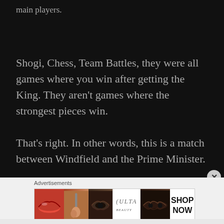main players.
Shogi, Chess, Team Battles, they were all games where you win after getting the King. They aren't games where the strongest pieces win.
That's right. In other words, this is a match between Windfield and the Prime Minister.
Advertisements
[Figure (photo): Advertisement banner showing beauty/makeup products with ULTA logo and SHOP NOW text]